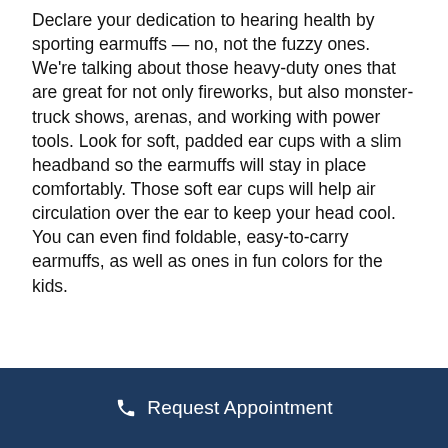Declare your dedication to hearing health by sporting earmuffs — no, not the fuzzy ones. We're talking about those heavy-duty ones that are great for not only fireworks, but also monster-truck shows, arenas, and working with power tools. Look for soft, padded ear cups with a slim headband so the earmuffs will stay in place comfortably. Those soft ear cups will help air circulation over the ear to keep your head cool. You can even find foldable, easy-to-carry earmuffs, as well as ones in fun colors for the kids.
Request Appointment